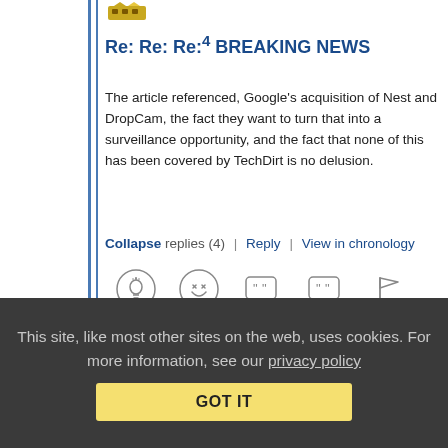Re: Re: Re:4 BREAKING NEWS
The article referenced, Google's acquisition of Nest and DropCam, the fact they want to turn that into a surveillance opportunity, and the fact that none of this has been covered by TechDirt is no delusion.
Collapse replies (4) | Reply | View in chronology
[Figure (other): Row of action icons: lightbulb/idea, laugh emoji, open quote bubble, close quote bubble, flag]
[Figure (other): Nested reply indicator with [8] count]
This site, like most other sites on the web, uses cookies. For more information, see our privacy policy
GOT IT